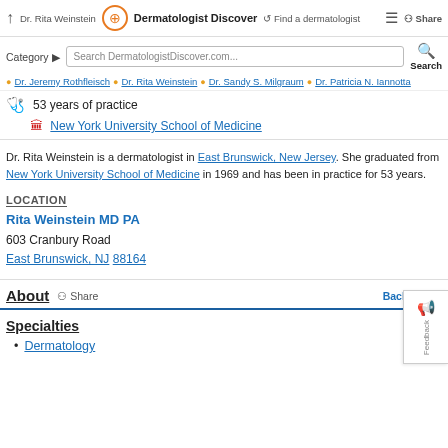Dr. Rita Weinstein | Dermatologist Discover | Find a dermatologist | Share
Category | Search DermatologistDiscover.com... | Search
Dr. Jeremy Rothfleisch | Dr. Rita Weinstein | Dr. Sandy S. Milgraum | Dr. Patricia N. Iannotta
53 years of practice
New York University School of Medicine
Dr. Rita Weinstein is a dermatologist in East Brunswick, New Jersey. She graduated from New York University School of Medicine in 1969 and has been in practice for 53 years.
LOCATION
Rita Weinstein MD PA
603 Cranbury Road
East Brunswick, NJ 88164
About  Share
Back to Top
Specialties
Dermatology